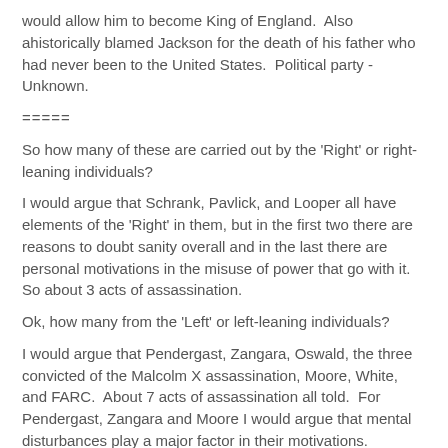would allow him to become King of England.  Also ahistorically blamed Jackson for the death of his father who had never been to the United States.  Political party - Unknown.
=====
So how many of these are carried out by the 'Right' or right-leaning individuals?
I would argue that Schrank, Pavlick, and Looper all have elements of the 'Right' in them, but in the first two there are reasons to doubt sanity overall and in the last there are personal motivations in the misuse of power that go with it.  So about 3 acts of assassination.
Ok, how many from the 'Left' or left-leaning individuals?
I would argue that Pendergast, Zangara, Oswald, the three convicted of the Malcolm X assassination, Moore, White, and FARC.  About 7 acts of assassination all told.  For Pendergast, Zangara and Moore I would argue that mental disturbances play a major factor in their motivations.